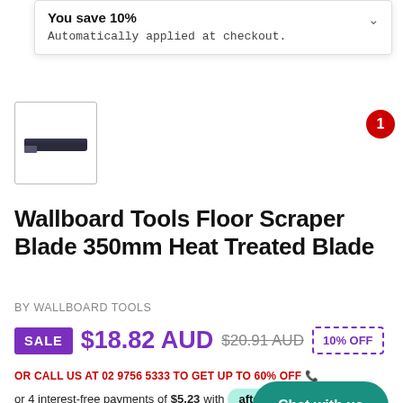You save 10%
Automatically applied at checkout.
[Figure (photo): Small product thumbnail image of a floor scraper blade, dark grey/black, shown from above]
Wallboard Tools Floor Scraper Blade 350mm Heat Treated Blade
BY WALLBOARD TOOLS
SALE $18.82 AUD $20.91 AUD 10% OFF
OR CALL US AT 02 9756 5333 TO GET UP TO 60% OFF 📞
or 4 interest-free payments of $5.23 with afterpay
SKU WBTFSB-14
Quantity 1